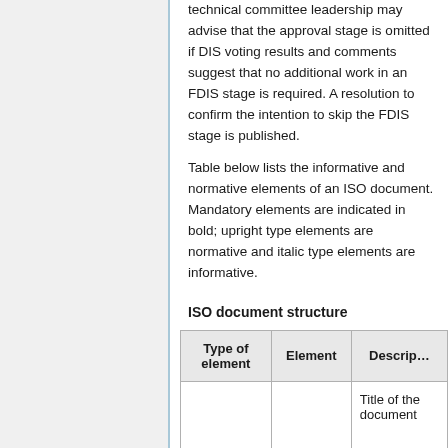technical committee leadership may advise that the approval stage is omitted if DIS voting results and comments suggest that no additional work in an FDIS stage is required. A resolution to confirm the intention to skip the FDIS stage is published.
Table below lists the informative and normative elements of an ISO document. Mandatory elements are indicated in bold; upright type elements are normative and italic type elements are informative.
ISO document structure
| Type of element | Element | Description |
| --- | --- | --- |
|  |  | Title of the document |